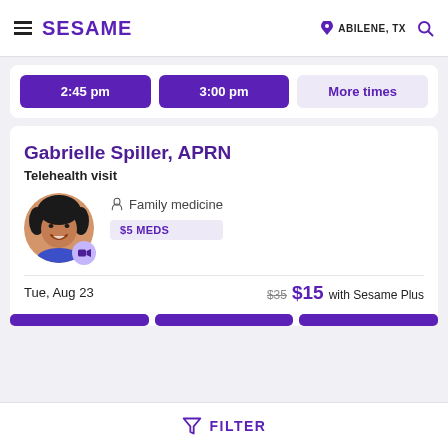SESAME — ABILENE, TX
2:45 pm  3:00 pm  More times
Gabrielle Spiller, APRN
Telehealth visit
[Figure (photo): Headshot of Gabrielle Spiller, a woman with dark curly hair, smiling, with a purple video camera badge overlay]
Family medicine
$5 MEDS
Tue, Aug 23
$35  $15 with Sesame Plus
FILTER